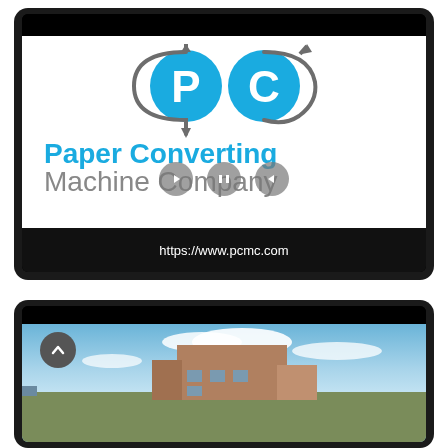[Figure (screenshot): Tablet device frame showing Paper Converting Machine Company (PCMC) logo with 'PC' circular icons, blue text 'Paper Converting' and gray text 'Machine Company', with URL bar showing https://www.pcmc.com]
[Figure (screenshot): Tablet device frame showing a building/facility photo with blue sky and clouds, with a scroll-up arrow button overlay]